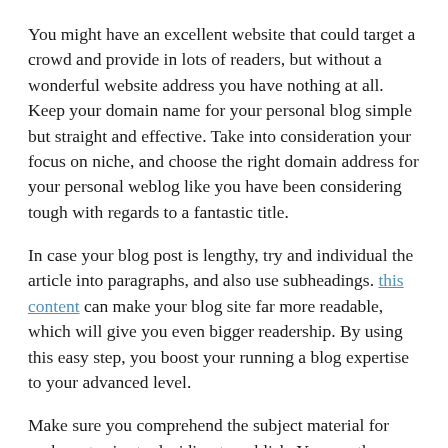You might have an excellent website that could target a crowd and provide in lots of readers, but without a wonderful website address you have nothing at all. Keep your domain name for your personal blog simple but straight and effective. Take into consideration your focus on niche, and choose the right domain address for your personal weblog like you have been considering tough with regards to a fantastic title.
In case your blog post is lengthy, try and individual the article into paragraphs, and also use subheadings. this content can make your blog site far more readable, which will give you even bigger readership. By using this easy step, you boost your running a blog expertise to your advanced level.
Make sure you comprehend the subject material for each post prior to deciding to publish. You run the danger of which includes untrue or wrong information unless you get a sufficient level of expertise regarding the subject prior to starting composing. You should also learn the topic, in order to offer clever comments to a followers queries.
Use a variety of social websites and useful techniques, but don't